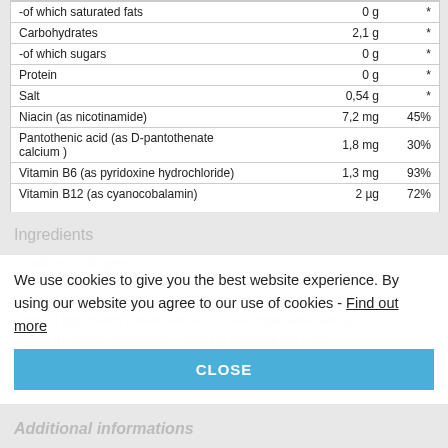| Nutrient | Amount | % |
| --- | --- | --- |
| -of which saturated fats | 0 g | * |
| Carbohydrates | 2,1 g | * |
| -of which sugars | 0 g | * |
| Protein | 0 g | * |
| Salt | 0,54 g | * |
| Niacin (as nicotinamide) | 7,2 mg | 45% |
| Pantothenic acid (as D-pantothenate calcium ) | 1,8 mg | 30% |
| Vitamin B6 (as pyridoxine hydrochloride) | 1,3 mg | 93% |
| Vitamin B12 (as cyanocobalamin) | 2 µg | 72% |
+ MORE
Ingredients
We use cookies to give you the best website experience. By using our website you agree to our use of cookies - Find out more
CLOSE
sodium hydrogen ... citrate, maltodextrin, cellulose, acesulfame K, sucralose, steviol glycosides (stevia extracts); flavorings; anti-caking agent: tricalcium phosphate; coloring concentrate from apple.
Additional informations